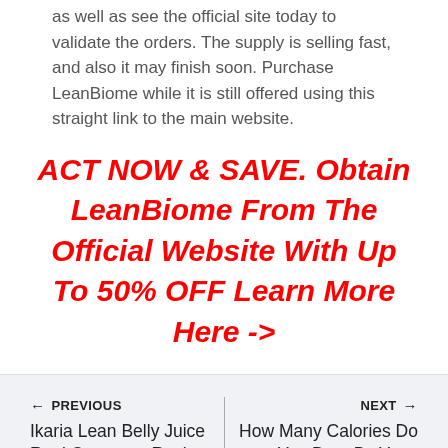as well as see the official site today to validate the orders. The supply is selling fast, and also it may finish soon. Purchase LeanBiome while it is still offered using this straight link to the main website.
ACT NOW & SAVE. Obtain LeanBiome From The Official Website With Up To 50% OFF Learn More Here ->
← PREVIOUS
Ikaria Lean Belly Juice Real Customer Review
NEXT →
How Many Calories Do You Burn By Yoga